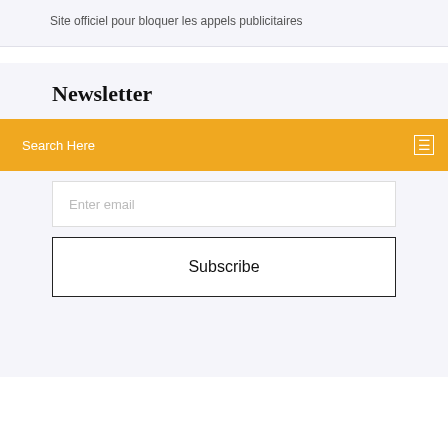Site officiel pour bloquer les appels publicitaires
Newsletter
Search Here
Enter email
Subscribe